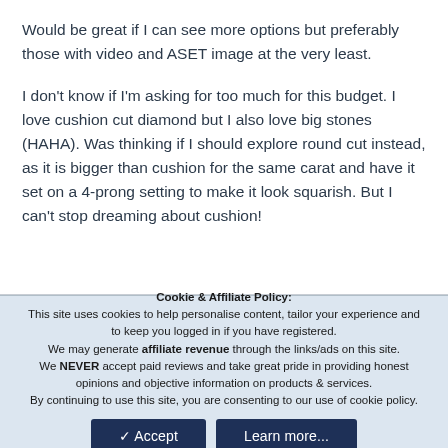Would be great if I can see more options but preferably those with video and ASET image at the very least.
I don't know if I'm asking for too much for this budget. I love cushion cut diamond but I also love big stones (HAHA). Was thinking if I should explore round cut instead, as it is bigger than cushion for the same carat and have it set on a 4-prong setting to make it look squarish. But I can't stop dreaming about cushion!
Cookie & Affiliate Policy: This site uses cookies to help personalise content, tailor your experience and to keep you logged in if you have registered. We may generate affiliate revenue through the links/ads on this site. We NEVER accept paid reviews and take great pride in providing honest opinions and objective information on products & services. By continuing to use this site, you are consenting to our use of cookie policy.